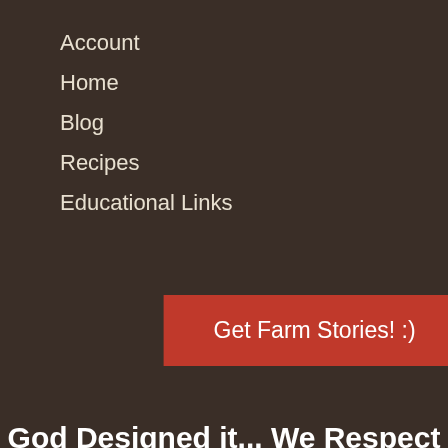Account
Home
Blog
Recipes
Educational Links
Get Farm Stories! :)
God Designed it...  We Respect it...  That Explains it!
"We came unto the land whither thou sentest us, and surely it floweth with milk and honey; and this is the fruit of it."